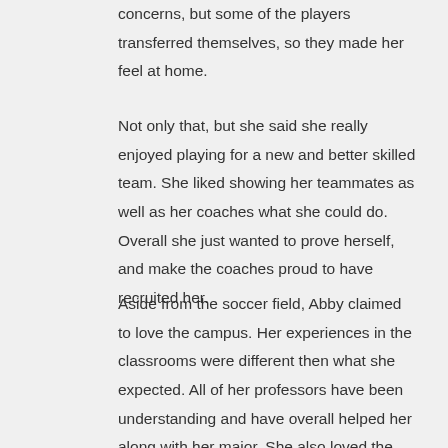concerns, but some of the players transferred themselves, so they made her feel at home.
Not only that, but she said she really enjoyed playing for a new and better skilled team. She liked showing her teammates as well as her coaches what she could do. Overall she just wanted to prove herself, and make the coaches proud to have recruited her.
Aside from the soccer field, Abby claimed to love the campus. Her experiences in the classrooms were different then what she expected. All of her professors have been understanding and have overall helped her along with her major. She also loved the convenience of having all her classes nearby, so she wouldn't have to